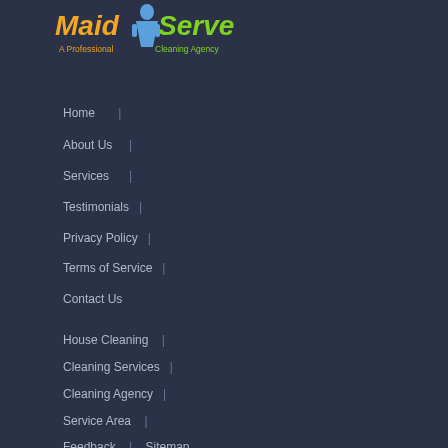[Figure (logo): MaidServe logo - orange and green stylized text with a maid figure, tagline 'A Professional Cleaning Agency']
Home |
About Us |
Services |
Testimonials |
Privacy Policy |
Terms of Service |
Contact Us
House Cleaning |
Cleaning Services |
Cleaning Agency |
Service Area |
Feedback | Sitemap